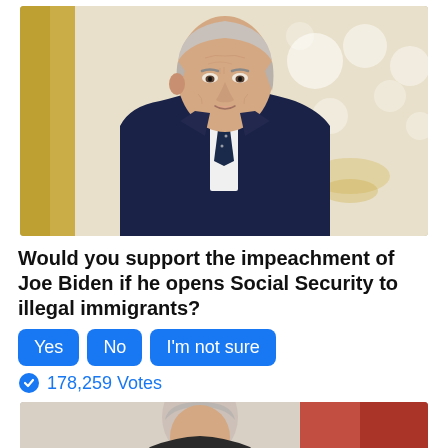[Figure (photo): Photo of Joe Biden in a dark navy suit and patterned tie, speaking in a formal room with gold curtains and bokeh lights in background]
Would you support the impeachment of Joe Biden if he opens Social Security to illegal immigrants?
Yes
No
I'm not sure
178,259 Votes
[Figure (photo): Partial photo of another person at bottom of page, cropped]